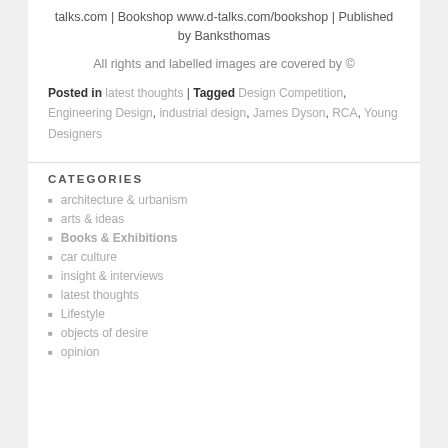talks.com | Bookshop www.d-talks.com/bookshop | Published by Banksthomas
All rights and labelled images are covered by ©
Posted in latest thoughts | Tagged Design Competition, Engineering Design, industrial design, James Dyson, RCA, Young Designers
CATEGORIES
architecture & urbanism
arts & ideas
Books & Exhibitions
car culture
insight & interviews
latest thoughts
Lifestyle
objects of desire
opinion